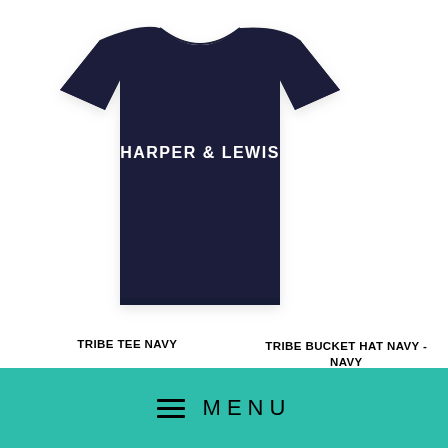[Figure (photo): Navy blue Harper & Lewis branded t-shirt with white text logo on chest]
TRIBE TEE NAVY
TRIBE BUCKET HAT NAVY - NAVY
Navy / S
£16.00
£12.00
MENU